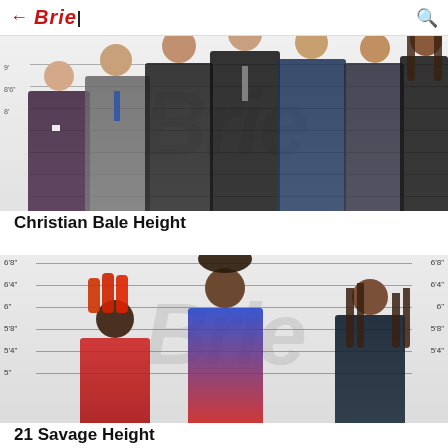← Brie| 🔍
[Figure (photo): Lineup-style photo of seven men in formal suits standing against a height measurement background with horizontal lines, watermarked with 'Brie' logo]
Christian Bale Height
[Figure (photo): Lineup-style photo of three men (including 21 Savage) standing against a height measurement background showing 5' to 6'8" markings on both sides, watermarked with 'Brie' logo]
21 Savage Height